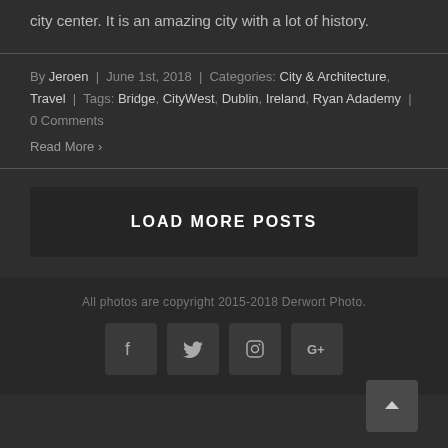city center. It is an amazing city with a lot of history.
By Jeroen | June 1st, 2018 | Categories: City & Architecture, Travel | Tags: Bridge, CityWest, Dublin, Ireland, Ryan Adademy | 0 Comments
Read More ›
LOAD MORE POSTS
All photos are copyright 2015-2018 Derwort Photo.
[Figure (other): Social media icons: Facebook, Twitter, Instagram, Google+, and a back-to-top arrow button]